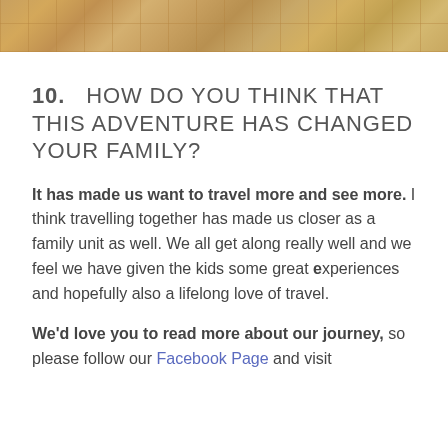[Figure (photo): Top strip showing a wooden parquet floor pattern in warm brown/tan tones]
10.   How do you think that this adventure has changed your family?
It has made us want to travel more and see more. I think travelling together has made us closer as a family unit as well. We all get along really well and we feel we have given the kids some great experiences and hopefully also a lifelong love of travel.
We'd love you to read more about our journey, so please follow our Facebook Page and visit